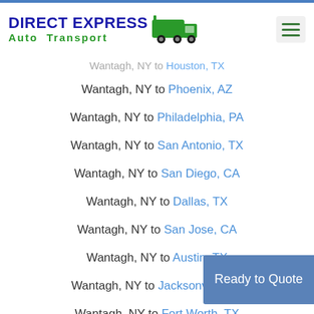DIRECT EXPRESS Auto Transport
Wantagh, NY to Houston, TX
Wantagh, NY to Phoenix, AZ
Wantagh, NY to Philadelphia, PA
Wantagh, NY to San Antonio, TX
Wantagh, NY to San Diego, CA
Wantagh, NY to Dallas, TX
Wantagh, NY to San Jose, CA
Wantagh, NY to Austin, TX
Wantagh, NY to Jacksonville, FL
Wantagh, NY to Fort Worth, TX
Ready to Quote